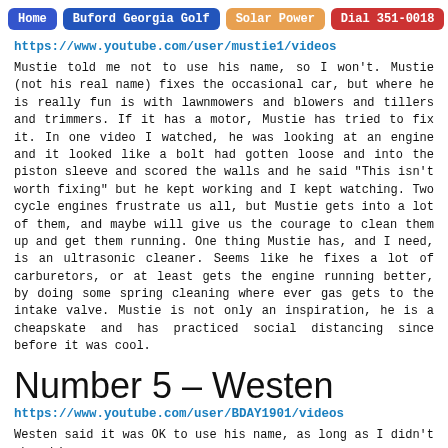Home | Buford Georgia Golf | Solar Power | Dial 351-0018
https://www.youtube.com/user/mustie1/videos
Mustie told me not to use his name, so I won't. Mustie (not his real name) fixes the occasional car, but where he is really fun is with lawnmowers and blowers and tillers and trimmers. If it has a motor, Mustie has tried to fix it. In one video I watched, he was looking at an engine and it looked like a bolt had gotten loose and into the piston sleeve and scored the walls and he said "This isn't worth fixing" but he kept working and I kept watching. Two cycle engines frustrate us all, but Mustie gets into a lot of them, and maybe will give us the courage to clean them up and get them running. One thing Mustie has, and I need, is an ultrasonic cleaner. Seems like he fixes a lot of carburetors, or at least gets the engine running better, by doing some spring cleaning where ever gas gets to the intake valve. Mustie is not only an inspiration, he is a cheapskate and has practiced social distancing since before it was cool.
Number 5 – Westen
https://www.youtube.com/user/BDAY1901/videos
Westen said it was OK to use his name, as long as I didn't show his